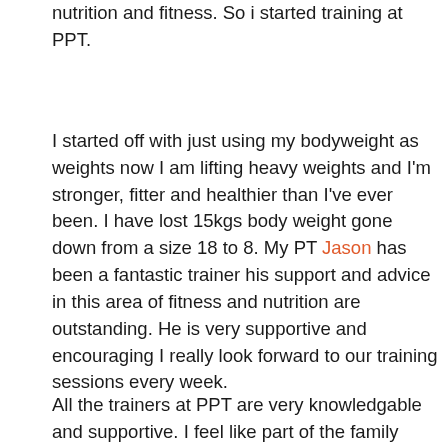nutrition and fitness. So i started training at PPT.
I started off with just using my bodyweight as weights now I am lifting heavy weights and I'm stronger, fitter and healthier than I've ever been. I have lost 15kgs body weight gone down from a size 18 to 8. My PT Jason has been a fantastic trainer his support and advice in this area of fitness and nutrition are outstanding. He is very supportive and encouraging I really look forward to our training sessions every week.
All the trainers at PPT are very knowledgable and supportive. I feel like part of the family here